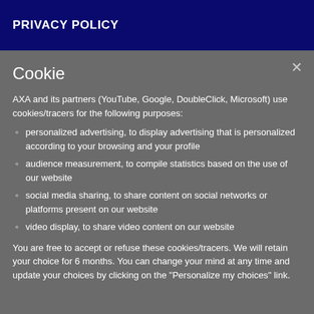PRIVACY POLICY
Cookie
AXA and its partners (YouTube, Google, DoubleClick, Microsoft) use cookies/tracers for the following purposes:
personalized advertising, to display advertising that is personalized according to your browsing and your profile
audience measurement, to compile statistics based on the use of our website
social media sharing, to share content on social networks or platforms present on our website
video display, to share video content on our website
You are free to accept or refuse these cookies/tracers. We will retain your choice for 6 months. You can change your mind at any time and update your choices by clicking on the "Personalize my choices" link.